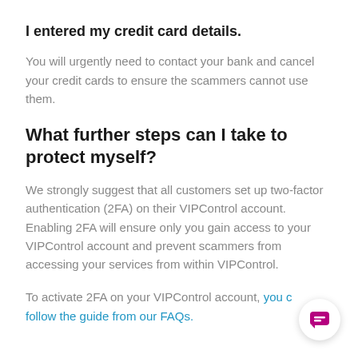I entered my credit card details.
You will urgently need to contact your bank and cancel your credit cards to ensure the scammers cannot use them.
What further steps can I take to protect myself?
We strongly suggest that all customers set up two-factor authentication (2FA) on their VIPControl account. Enabling 2FA will ensure only you gain access to your VIPControl account and prevent scammers from accessing your services from within VIPControl.
To activate 2FA on your VIPControl account, you can follow the guide from our FAQs.